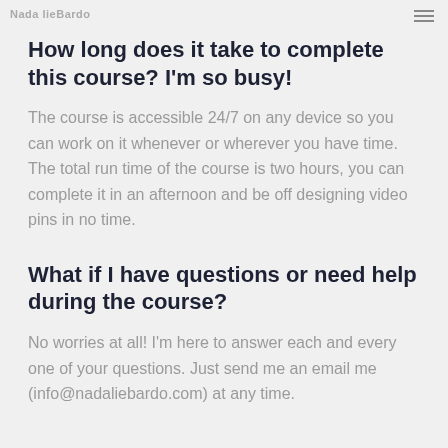Nada lieBardo
How long does it take to complete this course? I'm so busy!
The course is accessible 24/7 on any device so you can work on it whenever or wherever you have time. The total run time of the course is two hours, you can complete it in an afternoon and be off designing video pins in no time.
What if I have questions or need help during the course?
No worries at all! I'm here to answer each and every one of your questions. Just send me an email me (info@nadaliebardo.com) at any time.